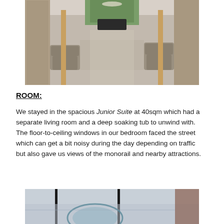[Figure (photo): Interior of a modern hotel lobby or lounge with grey upholstered chairs, wooden flooring, decorative lattice panels, and green plants at the far end.]
ROOM:
We stayed in the spacious Junior Suite at 40sqm which had a separate living room and a deep soaking tub to unwind with. The floor-to-ceiling windows in our bedroom faced the street which can get a bit noisy during the day depending on traffic but also gave us views of the monorail and nearby attractions.
[Figure (photo): View through floor-to-ceiling hotel room windows showing a city skyline with a recognizable bridge or dome structure visible outside.]